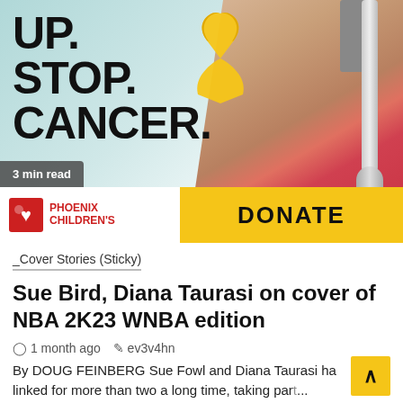[Figure (photo): Advertisement banner for Phoenix Children's cancer fundraiser. Shows bold black text 'UP. STOP. CANCER.' on left with a yellow ribbon graphic. Right side shows a child wearing a pink striped top with a medical port. Bottom bar has Phoenix Children's logo on left and a yellow DONATE button on right. A grey badge reads '3 min read'.]
_Cover Stories (Sticky)
Sue Bird, Diana Taurasi on cover of NBA 2K23 WNBA edition
1 month ago   ev3v4hn
By DOUG FEINBERG Sue Fowl and Diana Taurasi have been linked for more than two a long time, taking part...